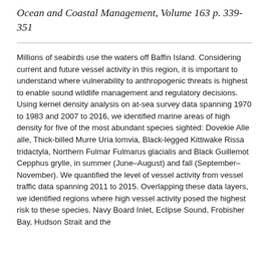Ocean and Coastal Management, Volume 163 p. 339-351
Millions of seabirds use the waters off Baffin Island. Considering current and future vessel activity in this region, it is important to understand where vulnerability to anthropogenic threats is highest to enable sound wildlife management and regulatory decisions. Using kernel density analysis on at-sea survey data spanning 1970 to 1983 and 2007 to 2016, we identified marine areas of high density for five of the most abundant species sighted: Dovekie Alle alle, Thick-billed Murre Uria lomvia, Black-legged Kittiwake Rissa tridactyla, Northern Fulmar Fulmarus glacialis and Black Guillemot Cepphus grylle, in summer (June–August) and fall (September–November). We quantified the level of vessel activity from vessel traffic data spanning 2011 to 2015. Overlapping these data layers, we identified regions where high vessel activity posed the highest risk to these species. Navy Board Inlet, Eclipse Sound, Frobisher Bay, Hudson Strait and the